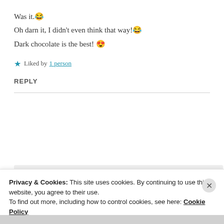Was it.😂
Oh darn it, I didn't even think that way!😂
Dark chocolate is the best! 😍
★ Liked by 1 person
REPLY
[Figure (screenshot): Partially visible blog/post preview with bold text 'And free.' and three circular profile photo avatars plus a blue plus button]
Privacy & Cookies: This site uses cookies. By continuing to use this website, you agree to their use.
To find out more, including how to control cookies, see here: Cookie Policy
Close and accept